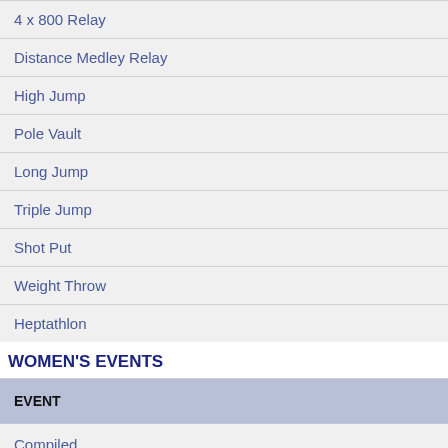| EVENT |
| --- |
| 4 x 800 Relay |
| Distance Medley Relay |
| High Jump |
| Pole Vault |
| Long Jump |
| Triple Jump |
| Shot Put |
| Weight Throw |
| Heptathlon |
WOMEN'S EVENTS
| EVENT |
| --- |
| Compiled |
| 60 Meters |